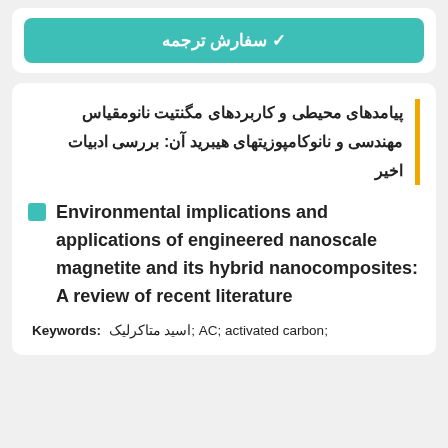✓ سفارش ترجمه
پیامدهای محیطی و کاربردهای مگنتیت نانومقیاس مهندسی و نانوکامپوزیتهای هیبرید آن: بررسی ادبیات اخیر
Environmental implications and applications of engineered nanoscale magnetite and its hybrid nanocomposites: A review of recent literature
Keywords:  اسید متاکرلیک; AC; activated carbon;